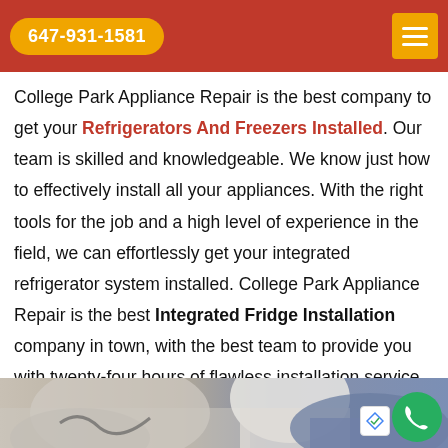647-931-1581
College Park Appliance Repair is the best company to get your Refrigerators And Freezers Installed. Our team is skilled and knowledgeable. We know just how to effectively install all your appliances. With the right tools for the job and a high level of experience in the field, we can effortlessly get your integrated refrigerator system installed. College Park Appliance Repair is the best Integrated Fridge Installation company in town, with the best team to provide you with twenty-four hours of flawless installation service, every day of the week.
[Figure (photo): Bottom strip showing a person in white shirt working on an appliance, partial view]